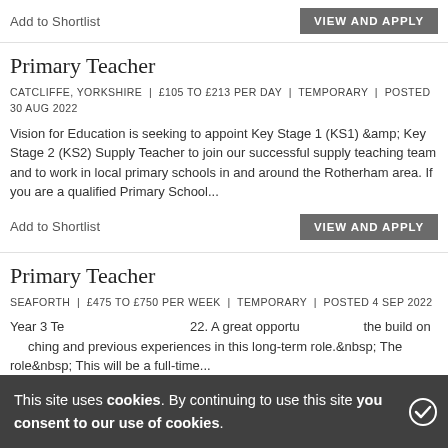Add to Shortlist
VIEW AND APPLY
Primary Teacher
CATCLIFFE, YORKSHIRE | £105 TO £213 PER DAY | TEMPORARY | POSTED 30 AUG 2022
Vision for Education is seeking to appoint Key Stage 1 (KS1) &amp; Key Stage 2 (KS2) Supply Teacher to join our successful supply teaching team and to work in local primary schools in and around the Rotherham area. If you are a qualified Primary School...
Add to Shortlist
VIEW AND APPLY
Primary Teacher
SEAFORTH | £475 TO £750 PER WEEK | TEMPORARY | POSTED 4 SEP 2022
Year 3 Teacher - September 2022. A great opportunity to add the build on teaching and previous experiences in this long-term role.&nbsp; The role&nbsp; This will be a full-time...
This site uses cookies. By continuing to use this site you consent to our use of cookies.